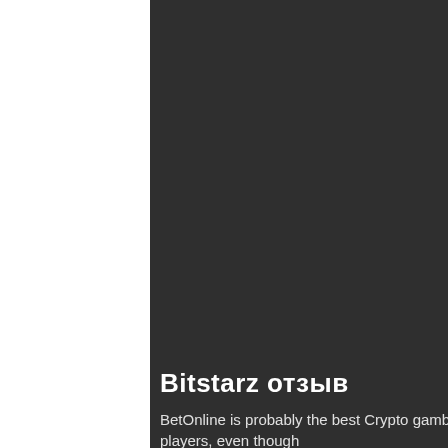Bitstarz отзыв
BetOnline is probably the best Crypto gambling site for US players, even though